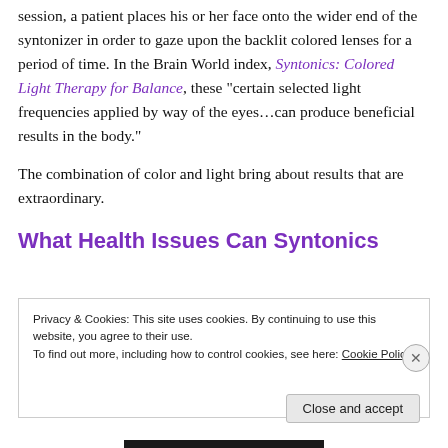session, a patient places his or her face onto the wider end of the syntonizer in order to gaze upon the backlit colored lenses for a period of time. In the Brain World index, Syntonics: Colored Light Therapy for Balance, these "certain selected light frequencies applied by way of the eyes…can produce beneficial results in the body."
The combination of color and light bring about results that are extraordinary.
What Health Issues Can Syntonics
Privacy & Cookies: This site uses cookies. By continuing to use this website, you agree to their use.
To find out more, including how to control cookies, see here: Cookie Policy